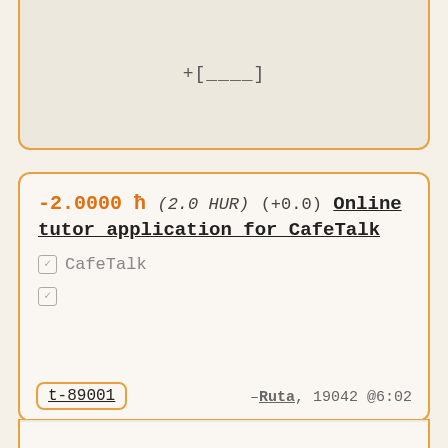+[____]
-2.0000 ħ (2.0 HUR) (+0.0) Online tutor application for CafeTalk
✓ CafeTalk
✓
t-89001
–Ruta, 19042 @6:02
+[____]